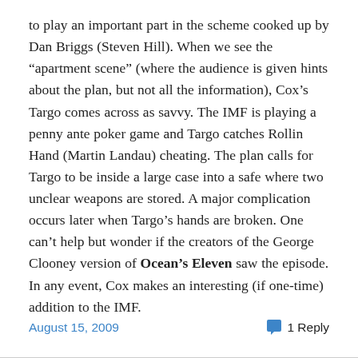to play an important part in the scheme cooked up by Dan Briggs (Steven Hill). When we see the “apartment scene” (where the audience is given hints about the plan, but not all the information), Cox’s Targo comes across as savvy. The IMF is playing a penny ante poker game and Targo catches Rollin Hand (Martin Landau) cheating. The plan calls for Targo to be inside a large case into a safe where two unclear weapons are stored. A major complication occurs later when Targo’s hands are broken. One can’t help but wonder if the creators of the George Clooney version of Ocean’s Eleven saw the episode. In any event, Cox makes an interesting (if one-time) addition to the IMF.
August 15, 2009   1 Reply